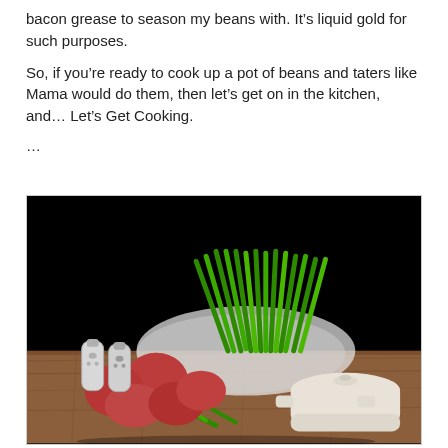bacon grease to season my beans with. It’s liquid gold for such purposes.
So, if you’re ready to cook up a pot of beans and taters like Mama would do them, then let’s get on in the kitchen, and… Let’s Get Cooking.
…
[Figure (photo): Green beans in a plastic bag, red potatoes, two glass salt and pepper shakers, and a white ceramic pot with lid, arranged on a wooden cutting board against a black background.]